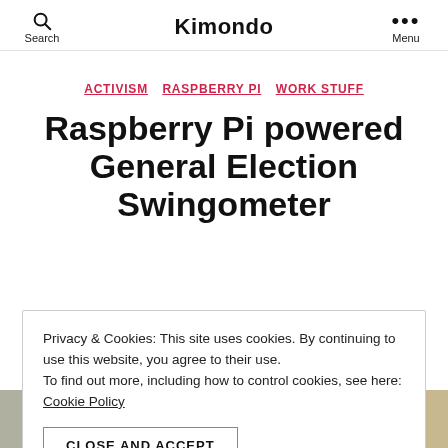Search | Kimondo | Menu
ACTIVISM  RASPBERRY PI  WORK STUFF
Raspberry Pi powered General Election Swingometer
Privacy & Cookies: This site uses cookies. By continuing to use this website, you agree to their use. To find out more, including how to control cookies, see here: Cookie Policy
CLOSE AND ACCEPT